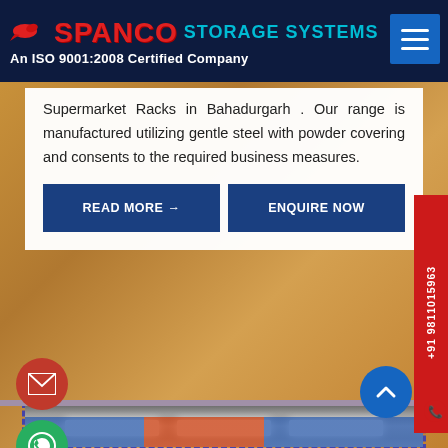SPANCO STORAGE SYSTEMS — An ISO 9001:2008 Certified Company
Supermarket Racks in Bahadurgarh . Our range is manufactured utilizing gentle steel with powder covering and consents to the required business measures.
READ MORE →
ENQUIRE NOW
[Figure (photo): Interior photo of a warehouse/supermarket showing ceiling with LED panel lights and shelving racks with blue and red frames in the background.]